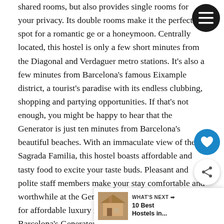shared rooms, but also provides single rooms for your privacy. Its double rooms make it the perfect spot for a romantic ge or a honeymoon. Centrally located, this hostel is only a few short minutes from the Diagonal and Verdaguer metro stations. It’s also a few minutes from Barcelona’s famous Eixample district, a tourist’s paradise with its endless clubbing, shopping and partying opportunities. If that’s not enough, you might be happy to hear that the Generator is just ten minutes from Barcelona’s beautiful beaches. With an immaculate view of the Sagrada Familia, this hostel boasts affordable and tasty food to excite your taste buds. Pleasant and polite staff members make your stay comfortable and worthwhile at the Generator Hostel. If you’re looking for affordable luxury in a boutique style hostel, Barcelona’s Generator Hostel is the one for you! Also, Gen Hostel has other locations throughout Europe so if you like staying in the Barcelona one you would probably in the other locations as well.